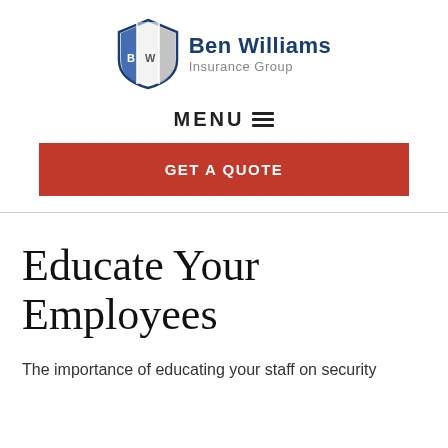[Figure (logo): Ben Williams Insurance Group logo with shield icon and company name]
MENU ≡
GET A QUOTE
Educate Your Employees
The importance of educating your staff on security